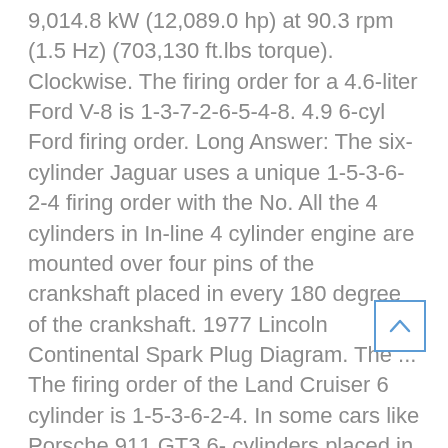9,014.8 kW (12,089.0 hp) at 90.3 rpm (1.5 Hz) (703,130 ft.lbs torque). Clockwise. The firing order for a 4.6-liter Ford V-8 is 1-3-7-2-6-5-4-8. 4.9 6-cyl Ford firing order. Long Answer: The six-cylinder Jaguar uses a unique 1-5-3-6-2-4 firing order with the No. All the 4 cylinders in In-line 4 cylinder engine are mounted over four pins of the crankshaft placed in every 180 degree of the crankshaft. 1977 Lincoln Continental Spark Plug Diagram. The ... The firing order of the Land Cruiser 6 cylinder is 1-5-3-6-2-4. In some cars like Porsche 911 GT3 6- cylinders placed in horizontal plane having opposite direction i.e. Hours of Operation. A six cylinder in-line engine has a power impulse every 720 degrees/6 i.e. Rotation of crankshaft through 120 degrees brings pistons 2 and 5 to their TDC and either one of these can be arrangement to complete a compression